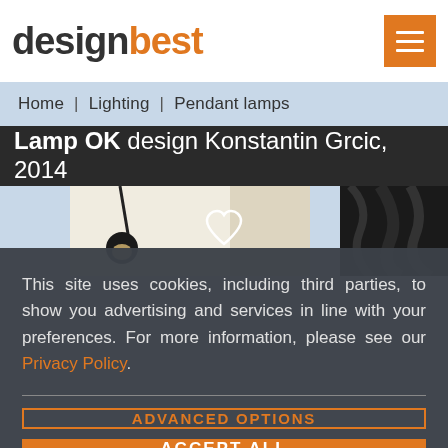designbest
Home | Lighting | Pendant lamps
Lamp OK design Konstantin Grcic, 2014
[Figure (photo): Product image area with a pendant lamp photo on left panel, heart icon in the center, and dark textured background on the right panel]
This site uses cookies, including third parties, to show you advertising and services in line with your preferences. For more information, please see our Privacy Policy.
ADVANCED OPTIONS
ACCEPT ALL